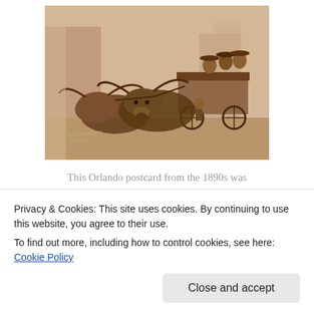[Figure (photo): Sepia-toned historical photograph showing cattle (longhorn oxen) pulling a wagon in a town street, with several people riding on the wagon, buildings visible in the background. Caption text 'The Cracker in Town' visible in lower left of photo.]
This Orlando postcard from the 1890s was captioned “The Cracker in Town.”
Privacy & Cookies: This site uses cookies. By continuing to use this website, you agree to their use.
To find out more, including how to control cookies, see here: Cookie Policy